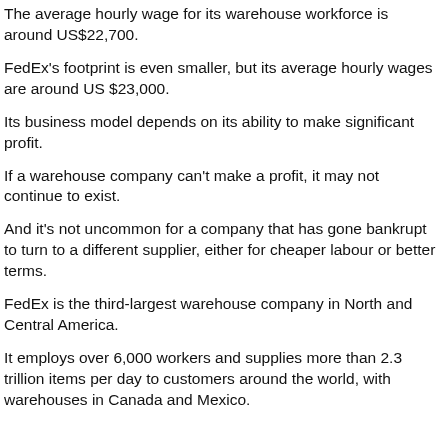The average hourly wage for its warehouse workforce is around US$22,700.
FedEx's footprint is even smaller, but its average hourly wages are around US $23,000.
Its business model depends on its ability to make significant profit.
If a warehouse company can't make a profit, it may not continue to exist.
And it's not uncommon for a company that has gone bankrupt to turn to a different supplier, either for cheaper labour or better terms.
FedEx is the third-largest warehouse company in North and Central America.
It employs over 6,000 workers and supplies more than 2.3 trillion items per day to customers around the world, with warehouses in Canada and Mexico.